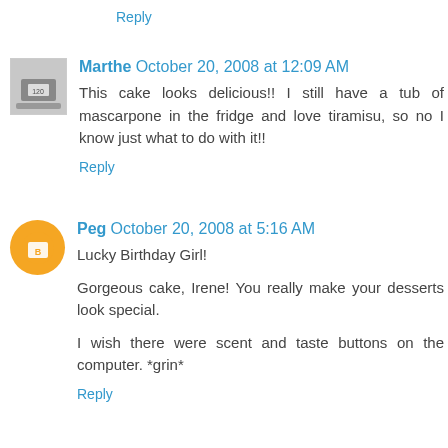Reply
Marthe  October 20, 2008 at 12:09 AM
This cake looks delicious!! I still have a tub of mascarpone in the fridge and love tiramisu, so no I know just what to do with it!!
Reply
Peg  October 20, 2008 at 5:16 AM
Lucky Birthday Girl!
Gorgeous cake, Irene! You really make your desserts look special.
I wish there were scent and taste buttons on the computer. *grin*
Reply